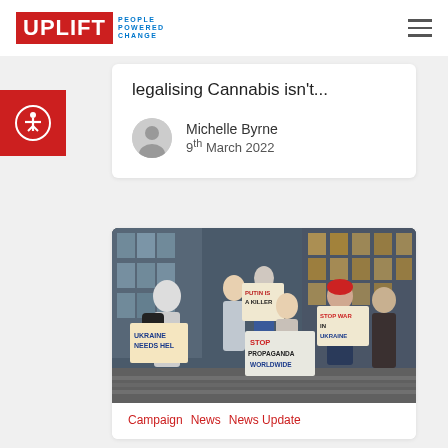UPLIFT PEOPLE POWERED CHANGE
legalising Cannabis isn't...
Michelle Byrne
9th March 2022
[Figure (photo): Protest photo showing people holding signs reading 'UKRAINE NEEDS HELP', 'PUTIN IS A KILLER', 'STOP WAR IN UKRAINE', 'STOP PROPAGANDA WORLDWIDE' in front of a glass building]
Campaign  News  News Update